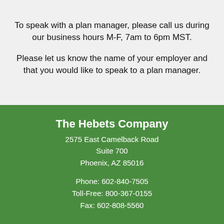To speak with a plan manager, please call us during our business hours M-F, 7am to 6pm MST.
Please let us know the name of your employer and that you would like to speak to a plan manager.
The Hebets Company
2575 East Camelback Road
Suite 700
Phoenix, AZ 85016

Phone: 602-840-7505
Toll-Free: 800-367-0155
Fax: 602-808-5560